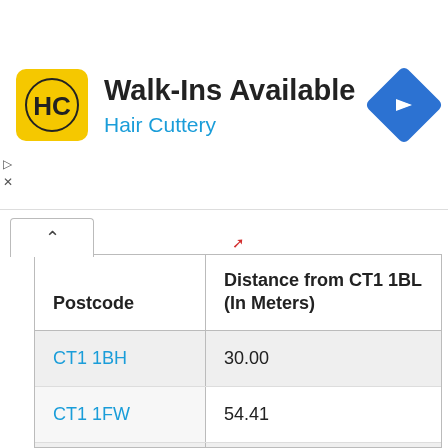[Figure (logo): Hair Cuttery logo - yellow rounded square with HC letters, ad banner reading Walk-Ins Available / Hair Cuttery with blue navigation arrow icon]
| Postcode | Distance from CT1 1BL (In Meters) |
| --- | --- |
| CT1 1BH | 30.00 |
| CT1 1FW | 54.41 |
| CT1 1EZ | 68.45 |
| CT1 1AY | 70.09 |
| CT1 1WJ | 74.20 |